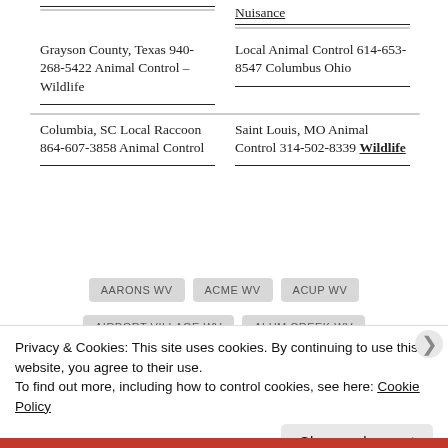|  | Nuisance |
| --- | --- |
| Grayson County, Texas 940-268-5422 Animal Control – Wildlife | Local Animal Control 614-653-8547 Columbus Ohio |
| Columbia, SC Local Raccoon 864-607-3858 Animal Control | Saint Louis, MO Animal Control 314-502-8339 Wildlife |
AARONS WV
ACME WV
ACUP WV
AIRPORT VILLAGE WV
ALUM CREEK WV
Privacy & Cookies: This site uses cookies. By continuing to use this website, you agree to their use.
To find out more, including how to control cookies, see here: Cookie Policy
Close and accept